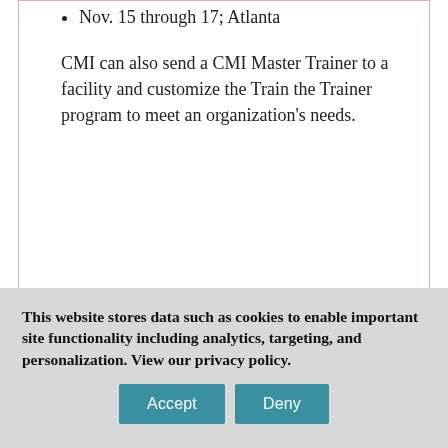Nov. 15 through 17; Atlanta
CMI can also send a CMI Master Trainer to a facility and customize the Train the Trainer program to meet an organization's needs.
This website stores data such as cookies to enable important site functionality including analytics, targeting, and personalization. View our privacy policy.